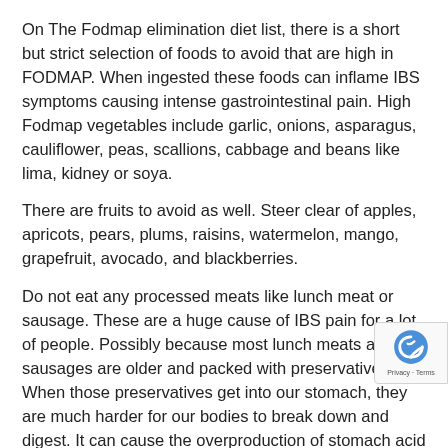On The Fodmap elimination diet list, there is a short but strict selection of foods to avoid that are high in FODMAP. When ingested these foods can inflame IBS symptoms causing intense gastrointestinal pain. High Fodmap vegetables include garlic, onions, asparagus, cauliflower, peas, scallions, cabbage and beans like lima, kidney or soya.
There are fruits to avoid as well. Steer clear of apples, apricots, pears, plums, raisins, watermelon, mango, grapefruit, avocado, and blackberries.
Do not eat any processed meats like lunch meat or sausage. These are a huge cause of IBS pain for a lot of people. Possibly because most lunch meats and sausages are older and packed with preservatives. When those preservatives get into our stomach, they are much harder for our bodies to break down and digest. It can cause the overproduction of stomach acid as your body tries to compensate for all of the preservatives, resulting in a sour stomach and even aci
What Are Some Good FODMAP Friendly Meals?